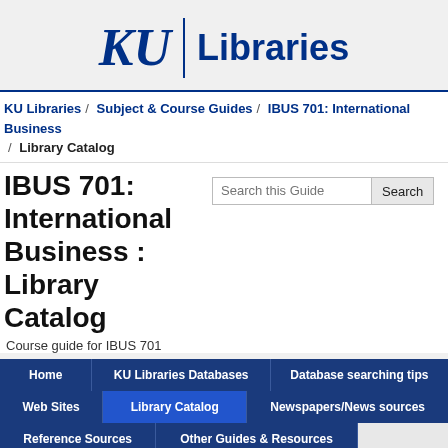[Figure (logo): KU Libraries logo: KU in serif italic blue, vertical divider, 'Libraries' in bold blue sans-serif]
KU Libraries / Subject & Course Guides / IBUS 701: International Business / Library Catalog
IBUS 701: International Business : Library Catalog
Course guide for IBUS 701
Home
KU Libraries Databases
Database searching tips
Web Sites
Library Catalog
Newspapers/News sources
Reference Sources
Other Guides & Resources
Requesting Materials
"How Do I..." (Library Tutorials on YouTube)
Additional information